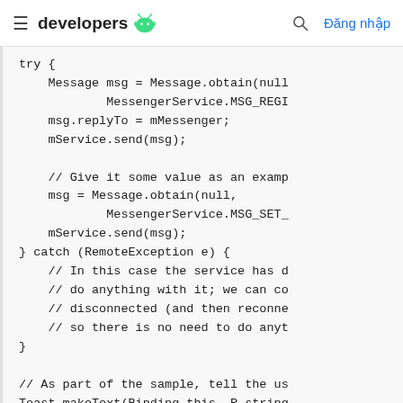≡  developers  [android icon]  [search icon]  Đăng nhập
try {
    Message msg = Message.obtain(null,
            MessengerService.MSG_REGI
    msg.replyTo = mMessenger;
    mService.send(msg);

    // Give it some value as an examp
    msg = Message.obtain(null,
            MessengerService.MSG_SET_
    mService.send(msg);
} catch (RemoteException e) {
    // In this case the service has d
    // do anything with it; we can co
    // disconnected (and then reconne
    // so there is no need to do anyt
}

// As part of the sample, tell the us
Toast.makeText(Binding.this, R.string
        Toast.LENGTH_SHORT).show();
}